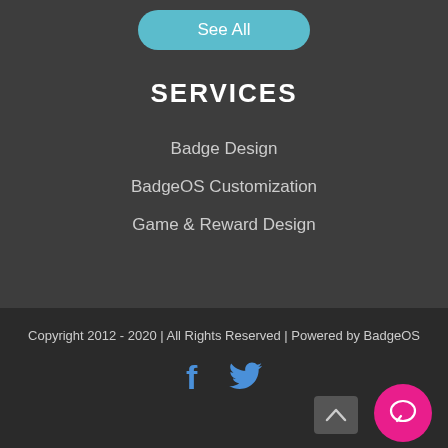[Figure (other): See All button - teal rounded button at top]
SERVICES
Badge Design
BadgeOS Customization
Game & Reward Design
Copyright 2012 - 2020 | All Rights Reserved | Powered by BadgeOS
[Figure (other): Social media icons: Facebook (f) and Twitter (bird) in blue, plus scroll-up button and pink chat button]